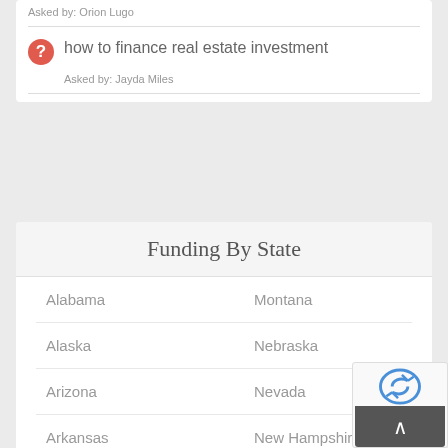Asked by: Orion Lugo
how to finance real estate investment
Asked by: Jayda Miles
Funding By State
Alabama
Montana
Alaska
Nebraska
Arizona
Nevada
Arkansas
New Hampshire